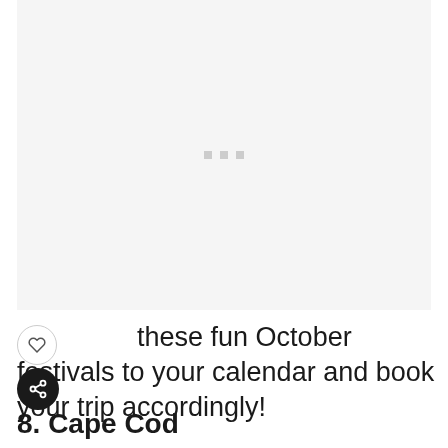[Figure (other): Large image placeholder with light gray background and three small gray squares in the center]
Add these fun October festivals to your calendar and book your trip accordingly!
8. Cape Cod